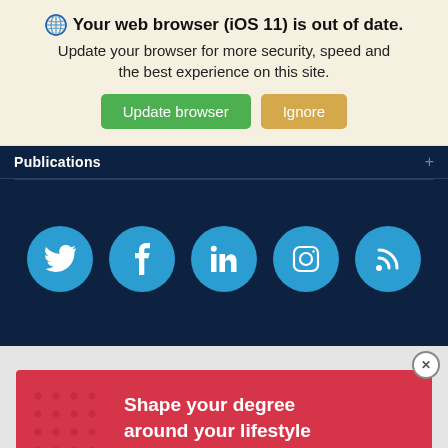[Figure (screenshot): Browser update notification banner with globe icon, bold title 'Your web browser (iOS 11) is out of date.', subtitle text, and two buttons: green 'Update browser' and tan 'Ignore']
Publications
[Figure (screenshot): Dark navy blue section with five blue circular social media icons: Twitter (bird), Facebook (f), LinkedIn (in), Instagram (camera/circle), and RSS feed]
[Figure (screenshot): Red advertisement banner with white dot pattern on left side and text 'Shape your degree around your lifestyle' in bold white text. A grey circular 'Top' button with upward chevron is overlaid on the bottom right.]